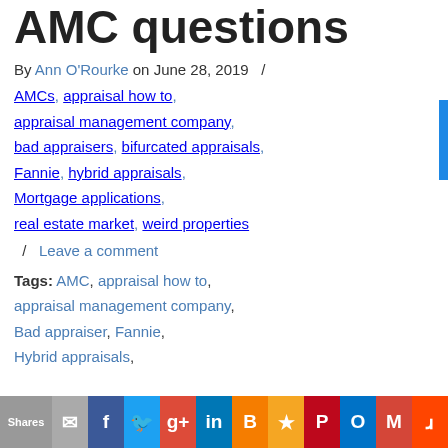AMC questions
By Ann O'Rourke on June 28, 2019  /  AMCs, appraisal how to, appraisal management company, bad appraisers, bifurcated appraisals, Fannie, hybrid appraisals, Mortgage applications, real estate market, weird properties
/ Leave a comment
Tags: AMC, appraisal how to, appraisal management company, Bad appraiser, Fannie, Hybrid appraisals,